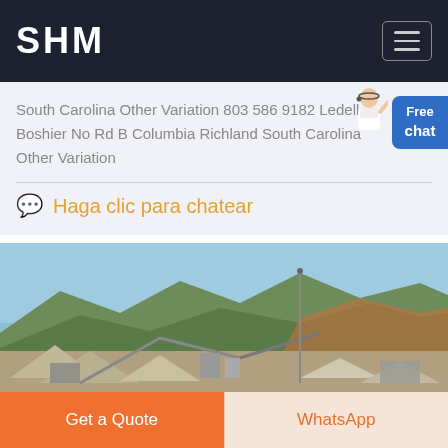SHM
South Carolina Other Variation 803 586 9182 Ledell Boshier No Rd B Columbia Richland South Carolina Other Variation
Haga clic para chatear
[Figure (photo): Outdoor industrial mining or quarrying site with conveyor belts, aggregate piles, and mountains with sparse vegetation in the background under a clear blue sky.]
Get a Quote
WhatsApp